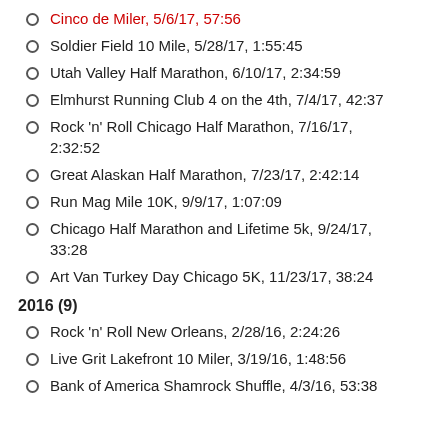Cinco de Miler, 5/6/17, 57:56
Soldier Field 10 Mile, 5/28/17, 1:55:45
Utah Valley Half Marathon, 6/10/17, 2:34:59
Elmhurst Running Club 4 on the 4th, 7/4/17, 42:37
Rock 'n' Roll Chicago Half Marathon, 7/16/17, 2:32:52
Great Alaskan Half Marathon, 7/23/17, 2:42:14
Run Mag Mile 10K, 9/9/17, 1:07:09
Chicago Half Marathon and Lifetime 5k, 9/24/17, 33:28
Art Van Turkey Day Chicago 5K, 11/23/17, 38:24
2016 (9)
Rock 'n' Roll New Orleans, 2/28/16, 2:24:26
Live Grit Lakefront 10 Miler, 3/19/16, 1:48:56
Bank of America Shamrock Shuffle, 4/3/16, 53:38